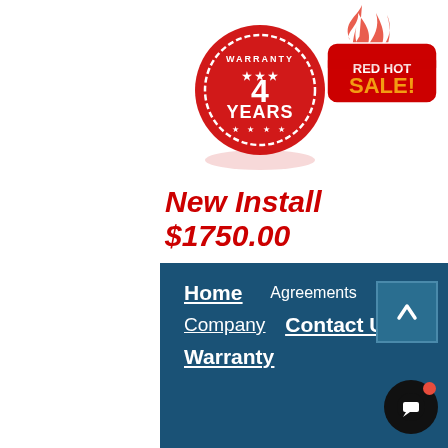[Figure (illustration): 4 Years Warranty stamp badge in red circular design]
[Figure (illustration): Red Hot Sale badge with flame icon]
New Install $1750.00
Home   Agreements   Company   Contact Us   Warranty